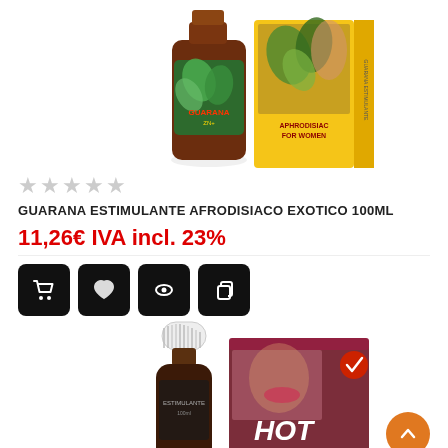[Figure (photo): Product photo showing Guarana Estimulante Afrodisiaco Exotico 100ml bottle and packaging with tropical green leaves design]
★★★★★ (star rating, all empty/grey)
GUARANA ESTIMULANTE AFRODISIACO EXOTICO 100ML
11,26€ IVA incl. 23%
[Figure (infographic): Four action icon buttons: cart, heart/wishlist, eye/view, copy/compare — all black rounded squares with white icons]
[Figure (photo): Product photo showing a dark dropper bottle with white cap next to a pink/maroon HOT product box with a close-up image on it]